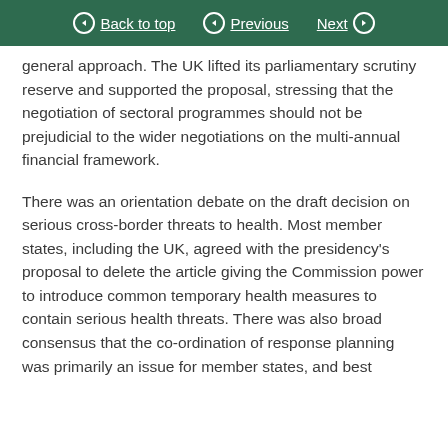Back to top | Previous | Next
general approach. The UK lifted its parliamentary scrutiny reserve and supported the proposal, stressing that the negotiation of sectoral programmes should not be prejudicial to the wider negotiations on the multi-annual financial framework.
There was an orientation debate on the draft decision on serious cross-border threats to health. Most member states, including the UK, agreed with the presidency's proposal to delete the article giving the Commission power to introduce common temporary health measures to contain serious health threats. There was also broad consensus that the co-ordination of response planning was primarily an issue for member states, and best